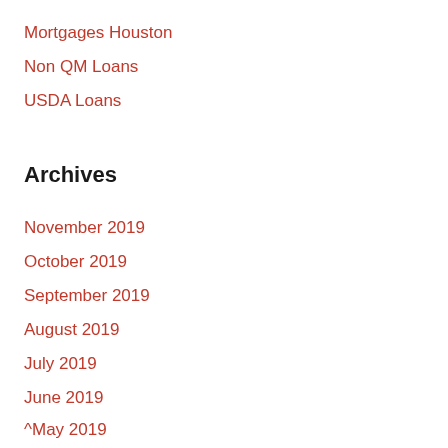Mortgages Houston
Non QM Loans
USDA Loans
Archives
November 2019
October 2019
September 2019
August 2019
July 2019
June 2019
May 2019